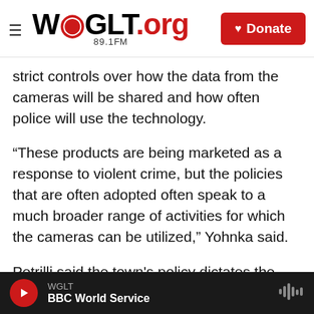WGLT.org 89.1FM — Donate
strict controls over how the data from the cameras will be shared and how often police will use the technology.
“These products are being marketed as a response to violent crime, but the policies that are often adopted often speak to a much broader range of activities for which the cameras can be utilized,” Yohnka said.
Petrilli said the town’s policy dictates the cameras can only be used for a "legitimate law enforcement purpose." He said the wording is intentionally broad
WGLT — BBC World Service